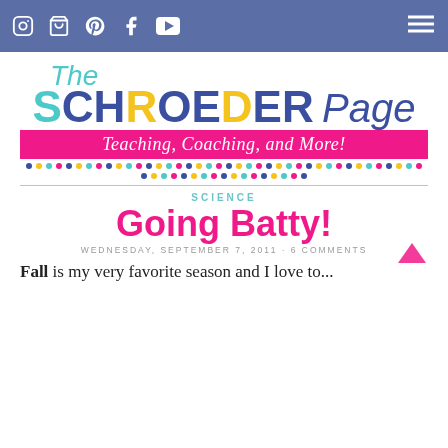The Schroeder Page - navigation bar with social icons
[Figure (logo): The Schroeder Page logo with colorful letters and 'Teaching, Coaching, and More!' tagline on pink banner, with multicolored dots below]
SCIENCE
Going Batty!
WEDNESDAY, SEPTEMBER 7, 2011 · 6 COMMENTS
Fall is my very favorite season and I love to...